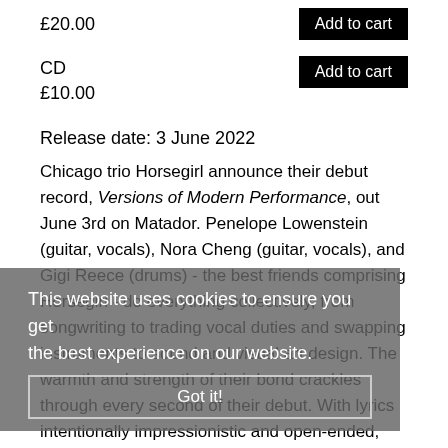£20.00
Add to cart
CD
£10.00
Add to cart
Release date: 3 June 2022
Chicago trio Horsegirl announce their debut record, Versions of Modern Performance, out June 3rd on Matador. Penelope Lowenstein (guitar, vocals), Nora Cheng (guitar, vocals), and Gigi Reece (drums) - the best friends comprising Horsegirl - do everything collectively, from songwriting to trading vocal duties and swapping instruments to sound and visual art design. The warmth and strength of their bond crackles through every second of their debut. With lyrics intentionally impressionistic and open-ended, and a sound that ranges with joy and enthusiasm across a range of styles, Versions of Modern Performance offers many pathways.
This website uses cookies to ensure you get the best experience on our website.
Got it!
Following last year's one-off 'Billy', lead single 'Anti-